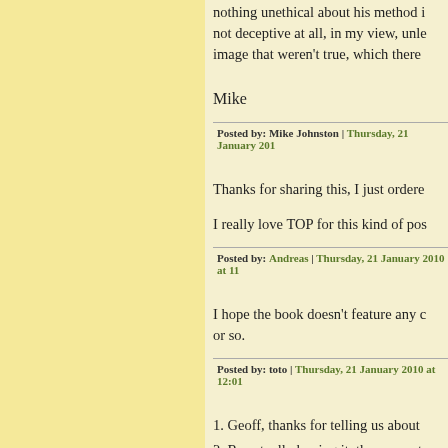nothing unethical about his method i not deceptive at all, in my view, unle image that weren't true, which there
Mike
Posted by: Mike Johnston | Thursday, 21 January 201
Thanks for sharing this, I just ordere
I really love TOP for this kind of pos
Posted by: Andreas | Thursday, 21 January 2010 at 11
I hope the book doesn't feature any c or so.
Posted by: toto | Thursday, 21 January 2010 at 12:01
1. Geoff, thanks for telling us about
2. Re actually buying it, they seem t